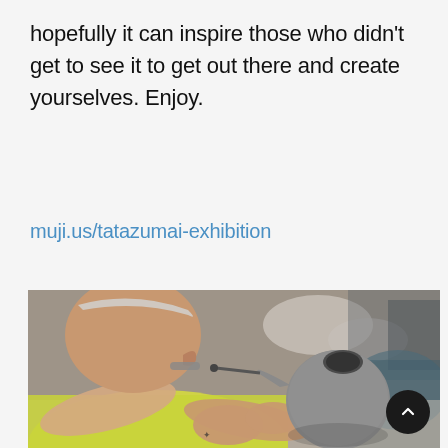hopefully it can inspire those who didn't get to see it to get out there and create yourselves. Enjoy.
muji.us/tatazumai-exhibition
[Figure (photo): A man in a yellow shirt holds a round gray ceramic teapot close to his face, carefully detailing it with a tool. The background is blurred with studio/workshop elements visible.]